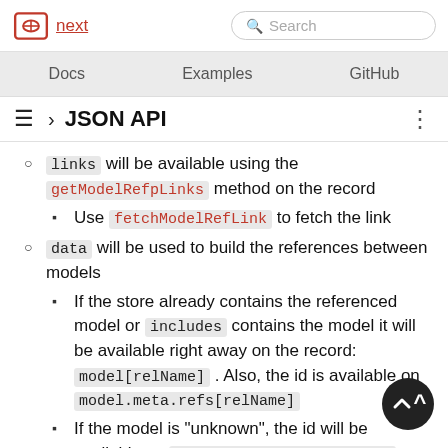next | Search
Docs | Examples | GitHub
› JSON API
links will be available using the getModelRefpLinks method on the record
Use fetchModelRefLink to fetch the link
data will be used to build the references between models
If the store already contains the referenced model or includes contains the model it will be available right away on the record: model[relName] . Also, the id is available on model.meta.refs[relName]
If the model is "unknown", the id will be available on model.meta.refs[relName]